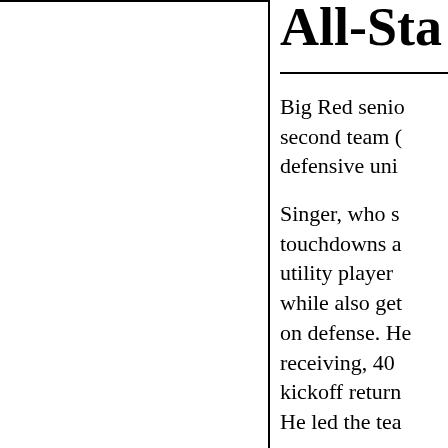All-Sta
Big Red senior second team (defensive uni
Singer, who s touchdowns a utility player while also get on defense. He receiving, 40 kickoff return He led the tea
Kyle Hall, the versatile recei